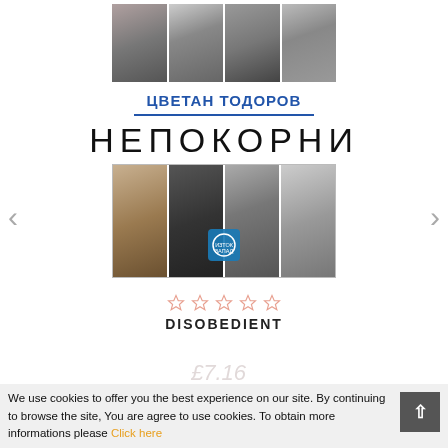[Figure (photo): Book cover photo grid top row: four black and white portraits of historical figures]
ЦВЕТАН ТОДОРОВ
НЕПОКОРНИ
[Figure (photo): Book cover photo grid bottom row: four black and white portraits including Nelson Mandela, Malcolm X, and others, with a small publisher logo]
☆☆☆☆☆
DISOBEDIENT
We use cookies to offer you the best experience on our site. By continuing to browse the site, You are agree to use cookies. To obtain more informations please Click here